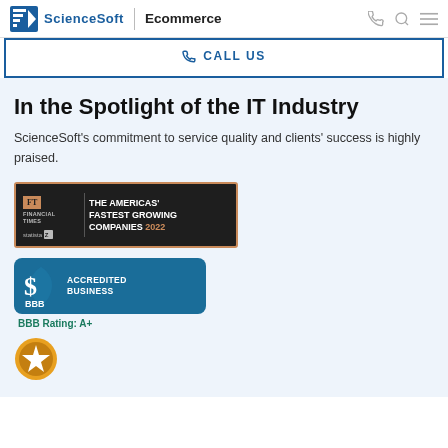ScienceSoft | Ecommerce
CALL US
In the Spotlight of the IT Industry
ScienceSoft's commitment to service quality and clients' success is highly praised.
[Figure (logo): Financial Times / Statista badge: THE AMERICAS' FASTEST GROWING COMPANIES 2022]
[Figure (logo): BBB Accredited Business badge with BBB Rating: A+]
[Figure (logo): Partial award badge with star icon, bottom of page]